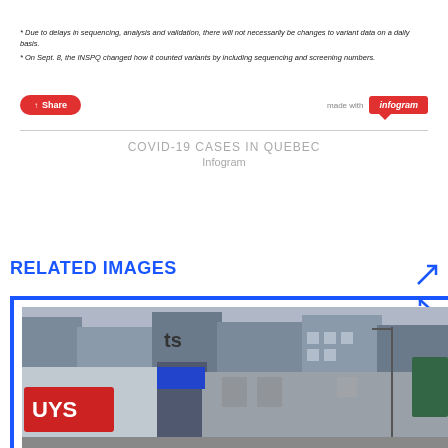* Due to delays in sequencing, analysis and validation, there will not necessarily be changes to variant data on a daily basis.
* On Sept. 8, the INSPQ changed how it counted variants by including sequencing and screening numbers.
[Figure (screenshot): Share button (red pill) on left, 'made with infogram' badge on right]
COVID-19 CASES IN QUEBEC
Infogram
RELATED IMAGES
[Figure (photo): Street scene photograph showing urban storefronts and signage]